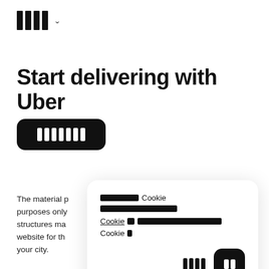[Uber logo bars] [chevron]
Start delivering with Uber
[Figure (other): Black rounded rectangle button with white vertical bars (redacted text)]
The material p... purposes only... structures ma... website for th... your city.
[Figure (other): Cookie consent popup card with redacted text lines and accept/reject buttons]